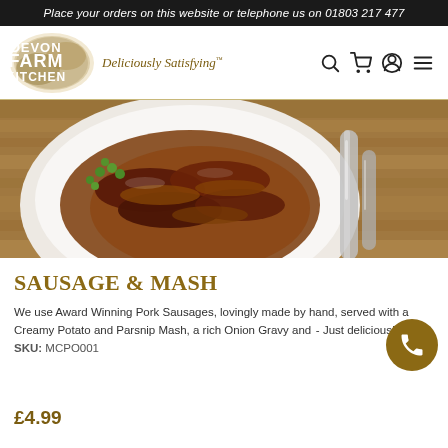Place your orders on this website or telephone us on 01803 217 477
[Figure (logo): Devon Farm Kitchen logo with watercolour background and tagline 'Deliciously Satisfying']
[Figure (photo): Close-up photo of sausage and mash dish with gravy and peas on a white plate, on a wooden table with cutlery]
SAUSAGE & MASH
We use Award Winning Pork Sausages, lovingly made by hand, served with a Creamy Potato and Parsnip Mash, a rich Onion Gravy and ... - Just delicious!  |  SKU: MCPO001